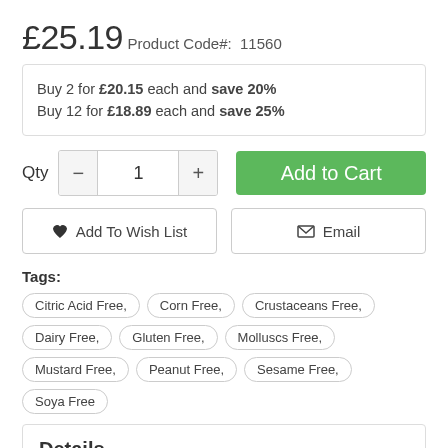£25.19
Product Code#:  11560
Buy 2 for £20.15 each and save 20%
Buy 12 for £18.89 each and save 25%
Qty  -  1  +  Add to Cart
♥ Add To Wish List   ✉ Email
Tags:
Citric Acid Free,
Corn Free,
Crustaceans Free,
Dairy Free,
Gluten Free,
Molluscs Free,
Mustard Free,
Peanut Free,
Sesame Free,
Soya Free
Details